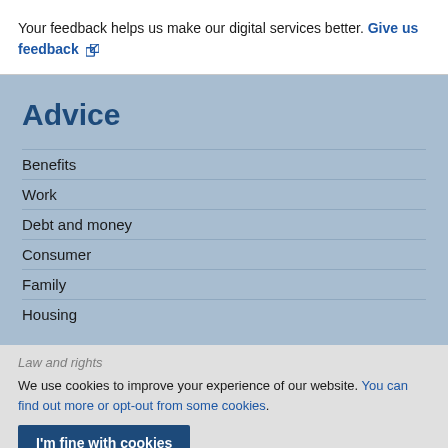Your feedback helps us make our digital services better. Give us feedback ↗
Advice
Benefits
Work
Debt and money
Consumer
Family
Housing
We use cookies to improve your experience of our website. You can find out more or opt-out from some cookies.
I'm fine with cookies